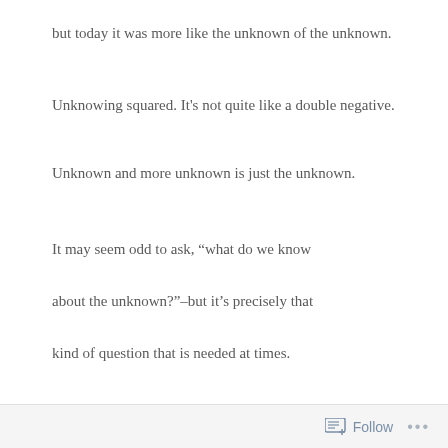but today it was more like the unknown of the unknown.
Unknowing squared. It’s not quite like a double negative.
Unknown and more unknown is just the unknown.
It may seem odd to ask, “what do we know about the unknown?”–but it’s precisely that kind of question that is needed at times.
The words tick on like seconds on a clock.
Follow ...